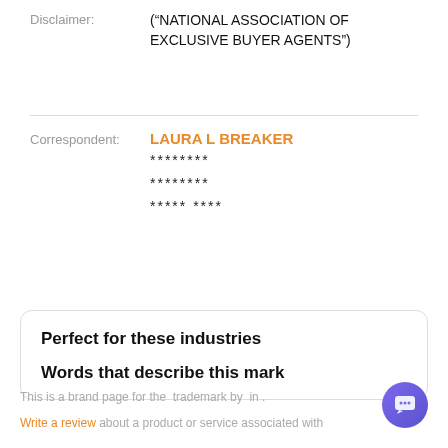Disclaimer: ("NATIONAL ASSOCIATION OF EXCLUSIVE BUYER AGENTS")
Correspondent: LAURA L BREAKER
********
********
***** ****
Perfect for these industries
Words that describe this mark
This is a brand page for the trademark by in .
Write a review about a product or service associated with this trademark. Comment the name of the trademark and...